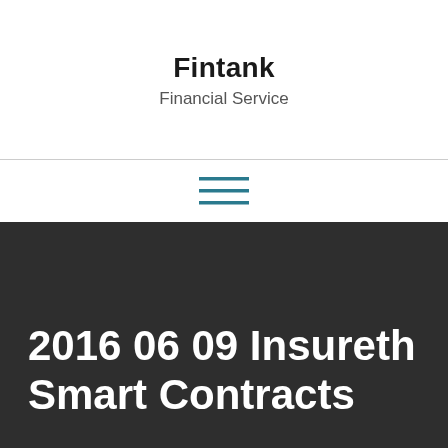Fintank
Financial Service
[Figure (other): Hamburger menu icon with three horizontal teal/dark-cyan lines]
2016 06 09 Insureth Smart Contracts